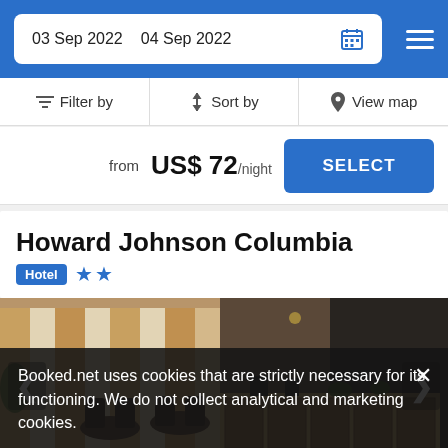03 Sep 2022  04 Sep 2022
Filter by  |  Sort by  |  View map
from  US$ 72/night  SELECT
Howard Johnson Columbia
Hotel  ★★
[Figure (photo): Interior photo of Howard Johnson Columbia hotel lobby/dining area with chairs, tables, and reception desk]
Booked.net uses cookies that are strictly necessary for its functioning. We do not collect analytical and marketing cookies.